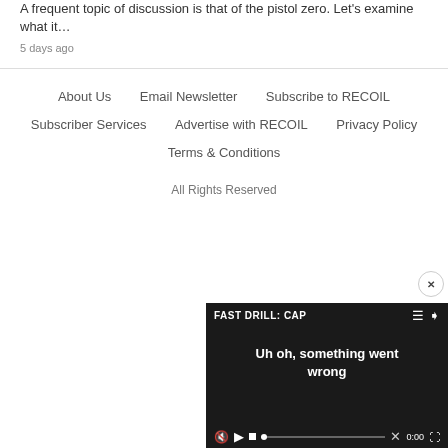A frequent topic of discussion is that of the pistol zero. Let's examine what it…
5 days ago
About Us  Email Newsletter  Subscribe to RECOIL  Subscriber Services  Advertise with RECOIL  Privacy Policy  Terms & Conditions
All Rights Reserved
[Figure (screenshot): Video player showing error message 'Uh oh, something went wrong' with title 'FAST DRILL: CAP' and video controls at bottom showing 0:00 timestamp. A close button (×) appears at top right.]